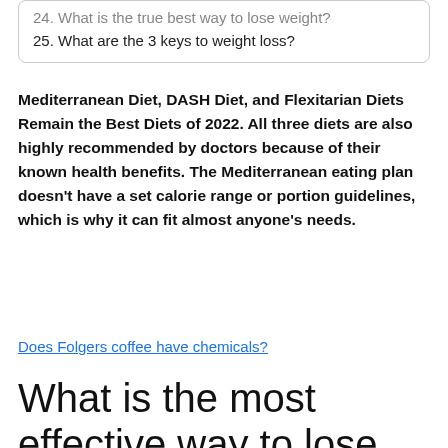24. What is the true best way to lose weight?
25. What are the 3 keys to weight loss?
Mediterranean Diet, DASH Diet, and Flexitarian Diets Remain the Best Diets of 2022. All three diets are also highly recommended by doctors because of their known health benefits. The Mediterranean eating plan doesn't have a set calorie range or portion guidelines, which is why it can fit almost anyone's needs.
Does Folgers coffee have chemicals?
What is the most effective way to lose